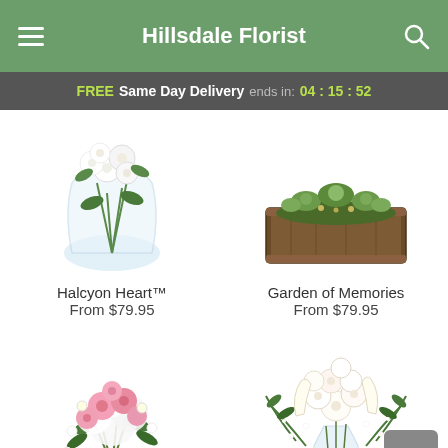Hillsdale Florist
FREE Same Day Delivery ends in: 04 : 15 : 52
[Figure (photo): White flower arrangement called Halcyon Heart in a round clear glass vase]
Halcyon Heart™
From $79.95
[Figure (photo): Garden of Memories arrangement in a rustic wooden rectangular box with greenery and succulents]
Garden of Memories
From $79.95
[Figure (photo): Pink and white rose bouquet in a white container — lower left product]
[Figure (photo): White rose and calla lily bouquet in a clear glass vase — lower right product]